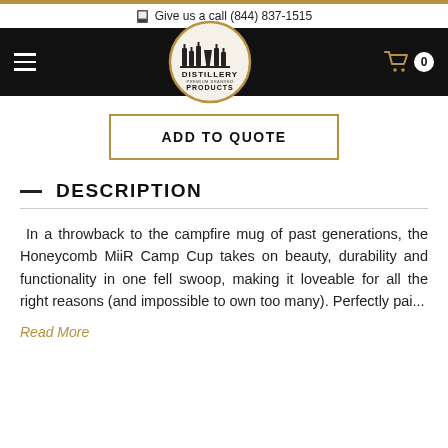Give us a call (844) 837-1515
[Figure (logo): Distillery Premium Branded Products logo — oval shape with bottles and glasses illustration, black and white on black nav bar]
ADD TO QUOTE
DESCRIPTION
In a throwback to the campfire mug of past generations, the Honeycomb MiiR Camp Cup takes on beauty, durability and functionality in one fell swoop, making it loveable for all the right reasons (and impossible to own too many). Perfectly pai...
Read More